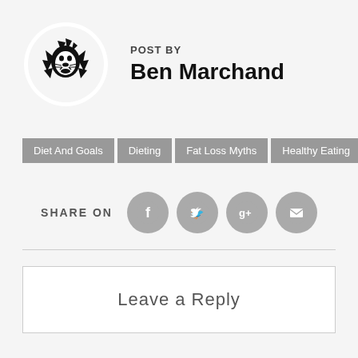[Figure (illustration): Circular avatar with a tribal lion head logo in black and white]
POST BY
Ben Marchand
Diet And Goals
Dieting
Fat Loss Myths
Healthy Eating
[Figure (infographic): SHARE ON row with Facebook, Twitter, Google+, and Email icon circles in gray]
Leave a Reply